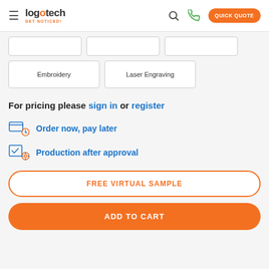Logotech GET NOTICED! — Quick Quote
[Figure (screenshot): Partial row of three blank bordered option buttons (cut off at top)]
Embroidery
Laser Engraving
For pricing please sign in or register
Order now, pay later
Production after approval
FREE VIRTUAL SAMPLE
ADD TO CART